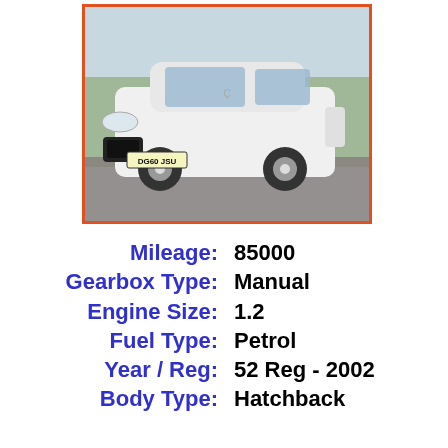[Figure (photo): Front view of a white Citroen C3 Picasso hatchback car with licence plate DG60 JSU, parked on a driveway with trees in background, framed with orange border]
| Mileage: | 85000 |
| Gearbox Type: | Manual |
| Engine Size: | 1.2 |
| Fuel Type: | Petrol |
| Year / Reg: | 52 Reg - 2002 |
| Body Type: | Hatchback |